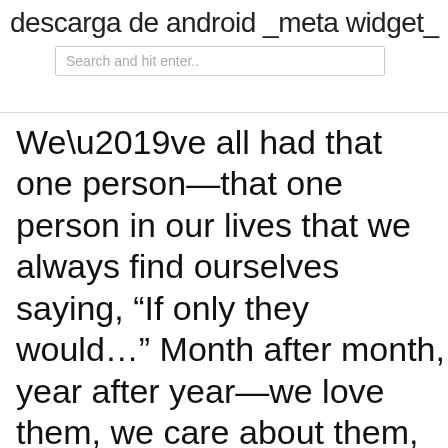descarga de android _meta widget_
Search and hit enter..
We’ve all had that one person—that one person in our lives that we always find ourselves saying, “If only they would…” Month after month, year after year—we love them, we care about them, we worry for them, but when we turn off the light or hang up the phone, we think